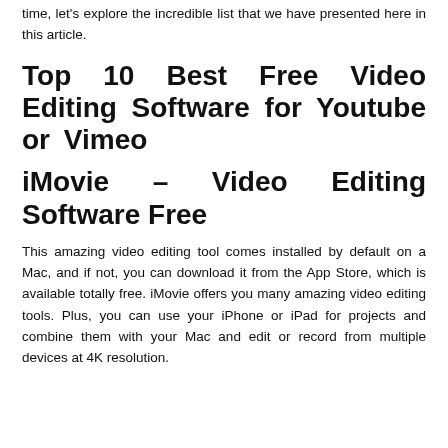time, let's explore the incredible list that we have presented here in this article.
Top 10 Best Free Video Editing Software for Youtube or Vimeo
iMovie – Video Editing Software Free
This amazing video editing tool comes installed by default on a Mac, and if not, you can download it from the App Store, which is available totally free. iMovie offers you many amazing video editing tools. Plus, you can use your iPhone or iPad for projects and combine them with your Mac and edit or record from multiple devices at 4K resolution.